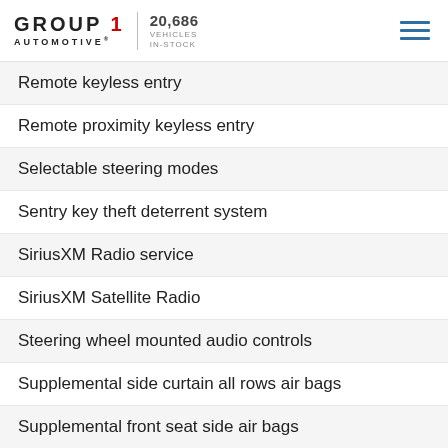GROUP 1 AUTOMOTIVE | 20,686 VEHICLES IN-STOCK
Remote keyless entry
Remote proximity keyless entry
Selectable steering modes
Sentry key theft deterrent system
SiriusXM Radio service
SiriusXM Satellite Radio
Steering wheel mounted audio controls
Supplemental side curtain all rows air bags
Supplemental front seat side air bags
Supplemental side air bags
Temperature and compass gauge
Tinted windshield glass
Tip start